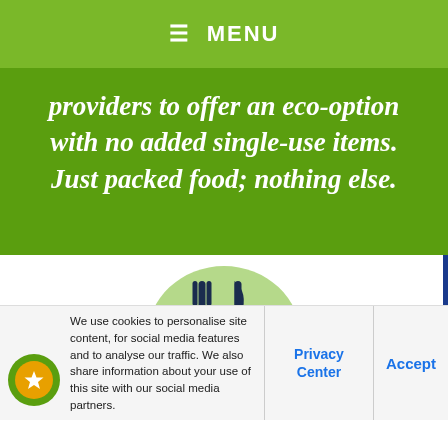☰ MENU
providers to offer an eco-option with no added single-use items. Just packed food; nothing else.
[Figure (illustration): Light green circular background with dark navy cutlery (fork and knife) icon in the center]
We use cookies to personalise site content, for social media features and to analyse our traffic. We also share information about your use of this site with our social media partners.
Privacy Center
Accept